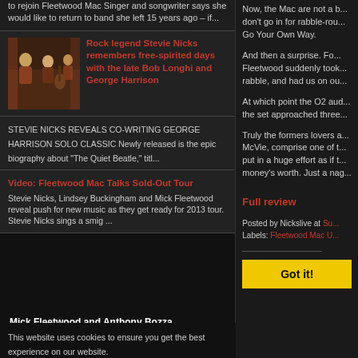to rejoin Fleetwood Mac Singer and songwriter says she would like to return to band she left 15 years ago – if...
Rock legend Stevie Nicks remembers free-spirited days with the late Bob Longhi and George Harrison
STEVIE NICKS REVEALS CO-WRITING GEORGE HARRISON SOLO CLASSIC Newly released is the epic biography about "The Quiet Beatle," titl...
Video: Fleetwood Mac Talks Sold-Out Tour
Stevie Nicks, Lindsey Buckingham and Mick Fleetwood reveal push for new music as they get ready for 2013 tour. Stevie Nicks sings a smig ...
Mick Fleetwood and Anthony Bozza
Play On: Now, Then
This website uses cookies to ensure you get the best experience on our website.
Now, the Mac are not a b... don't go in for rabble-rou... Go Your Own Way.
And then a surprise. Fo... Fleetwood suddenly took... rabble, and had us on ou...
At which point the O2 aud... the set approached three...
Truly the formers lovers a... McVie, comprise one of t... put in a huge effort as if t... money's worth. Just a nag...
Full review
Posted by Nickslive at Su...
Labels: Fleetwood Mac U...
Got it!